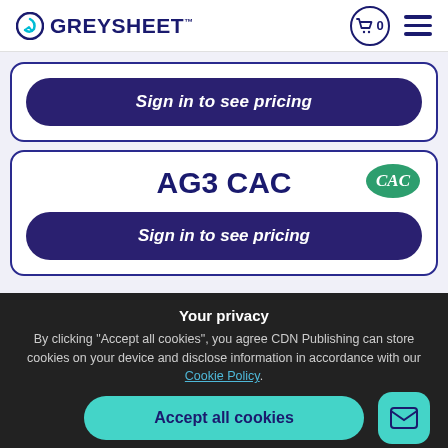GREYSHEET
Sign in to see pricing
AG3 CAC
Sign in to see pricing
Your privacy
By clicking "Accept all cookies", you agree CDN Publishing can store cookies on your device and disclose information in accordance with our Cookie Policy.
Accept all cookies